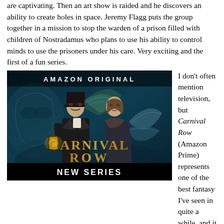are captivating. Then an art show is raided and he discovers an ability to create holes in space. Jeremy Flagg puts the group together in a mission to stop the warden of a prison filled with children of Nostradamus who plans to use his ability to control minds to use the prisoners under his care. Very exciting and the first of a fun series.
[Figure (photo): Promotional image for Carnival Row (Amazon Original) showing a man in Victorian attire holding a lantern and a woman with fairy wings, with the text 'AMAZON ORIGINAL', 'CARNIVAL ROW', and 'NEW SERIES' overlaid on a dark fantasy background.]
I don't often mention television, but Carnival Row (Amazon Prime) represents one of the best fantasy I've seen in quite a while, and it is completely original. Detective Rycroft Philostrate is trying to find a murderer using a magical beast that shreds it's victims. In a Victorian age city filled with refugees from a Fae continent. The Faries, Fauns, etc have to find a place among humans, sometimes